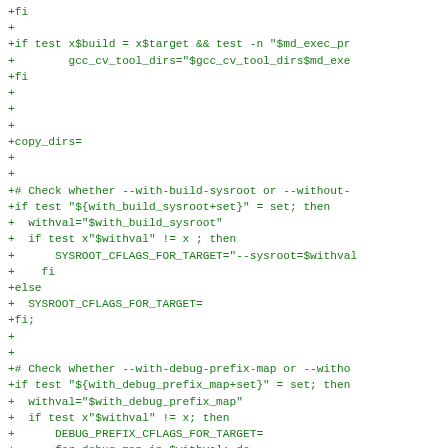+fi
+
+if test x$build = x$target && test -n "$md_exec_pr
+        gcc_cv_tool_dirs="$gcc_cv_tool_dirs$md_exe
+fi
+
+
+
+copy_dirs=
+
+
+# Check whether --with-build-sysroot or --without-
+if test "${with_build_sysroot+set}" = set; then
+  withval="$with_build_sysroot"
+  if test x"$withval" != x ; then
+      SYSROOT_CFLAGS_FOR_TARGET="--sysroot=$withval
+    fi
+else
+  SYSROOT_CFLAGS_FOR_TARGET=
+fi;
+
+
+# Check whether --with-debug-prefix-map or --witho
+if test "${with_debug_prefix_map+set}" = set; then
+  withval="$with_debug_prefix_map"
+  if test x"$withval" != x; then
+      DEBUG_PREFIX_CFLAGS_FOR_TARGET=
+      for debug_map in $withval; do
+        DEBUG_PREFIX_CFLAGS_FOR_TARGET="$DEBUG_PREF
+      done
+    fi